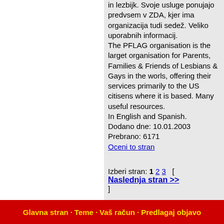in lezbijk. Svoje usluge ponujajo predvsem v ZDA, kjer ima organizacija tudi sedež. Veliko uporabnih informacij. The PFLAG organisation is the larget organisation for Parents, Families & Friends of Lesbians & Gays in the worls, offering their services primarily to the US citisens where it is based. Many useful resources. In English and Spanish. Dodano dne: 10.01.2003 Prebrano: 6171
Oceni to stran
Izberi stran: 1 2 3 [ Naslednja stran >> ]
Glavna stran · Teme · Vaš račun · Predlagaj objavo